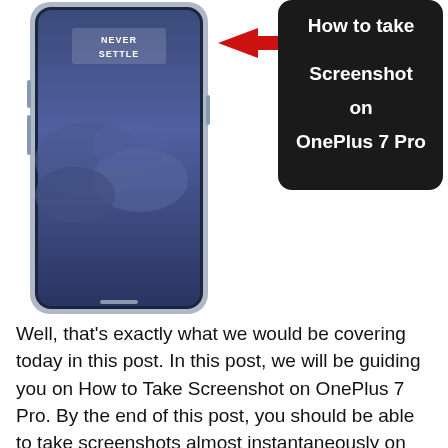[Figure (screenshot): OnePlus 7 Pro smartphone with a dark blue stormy sky wallpaper showing NEVER SETTLE text on screen, with a red arrow pointing left toward the phone from a black rounded rectangle containing the text 'How to take Screenshot on OnePlus 7 Pro']
Well, that's exactly what we would be covering today in this post. In this post, we will be guiding you on How to Take Screenshot on OnePlus 7 Pro. By the end of this post, you should be able to take screenshots almost instantaneously on your OnePlus device.
Table of Contents